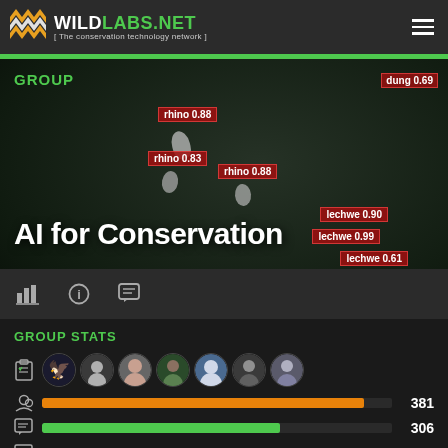WILDLABS.NET [ The conservation technology network ]
[Figure (screenshot): AI object detection image showing rhinos and lechwe animals with bounding box labels: rhino 0.88, rhino 0.83, rhino 0.88, lechwe 0.90, lechwe 0.99, lechwe 0.61, dung 0.69. Large white bold text overlay reads 'AI for Conservation'. Bottom has GROUP label in green and icon bar.]
GROUP STATS
381
306
206